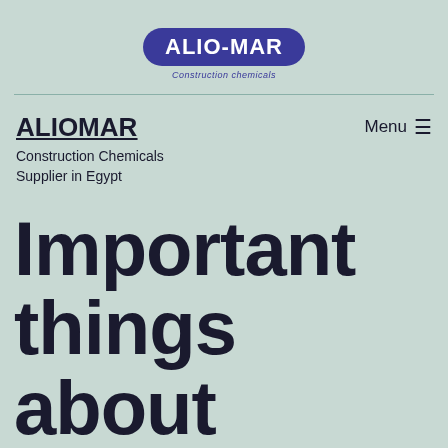[Figure (logo): ALIO-MAR Construction chemicals logo — dark blue rounded rectangle badge with white bold text 'ALIO-MAR' and italic subtitle 'Construction chemicals' below in dark blue]
ALIOMAR
Construction Chemicals Supplier in Egypt
Menu ≡
Important things about